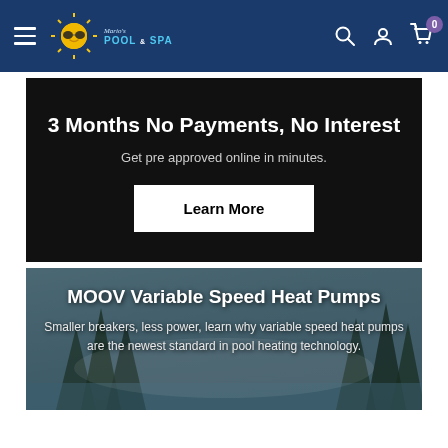Mario's Pool & Spa — navigation bar with hamburger menu, logo, search, account, cart (0)
3 Months No Payments, No Interest
Get pre approved online in minutes.
Learn More
MOOV Variable Speed Heat Pumps
Smaller breakers, less power, learn why variable speed heat pumps are the newest standard in pool heating technology.